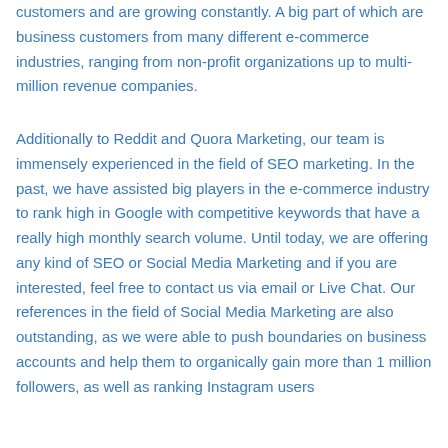customers and are growing constantly. A big part of which are business customers from many different e-commerce industries, ranging from non-profit organizations up to multi-million revenue companies.
Additionally to Reddit and Quora Marketing, our team is immensely experienced in the field of SEO marketing. In the past, we have assisted big players in the e-commerce industry to rank high in Google with competitive keywords that have a really high monthly search volume. Until today, we are offering any kind of SEO or Social Media Marketing and if you are interested, feel free to contact us via email or Live Chat. Our references in the field of Social Media Marketing are also outstanding, as we were able to push boundaries on business accounts and help them to organically gain more than 1 million followers, as well as ranking Instagram users